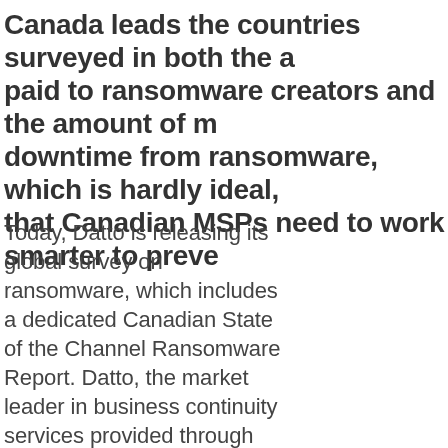Canada leads the countries surveyed in both the amount paid to ransomware creators and the amount of money downtime from ransomware, which is hardly ideal, that Canadian MSPs need to work smarter to preve...
Today, Datto is releasing its global survey on ransomware, which includes a dedicated Canadian State of the Channel Ransomware Report. Datto, the market leader in business continuity services provided through MSPs, has a significant presence in Canada, with about 1100 partners of their approximately 14,000 global...